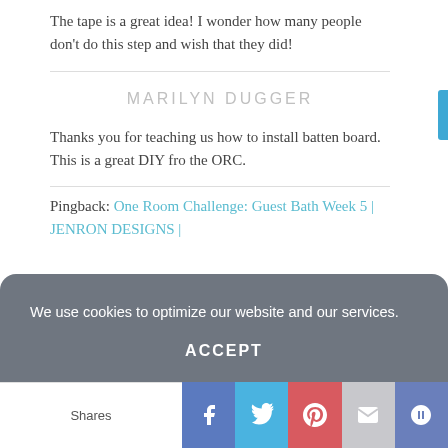The tape is a great idea! I wonder how many people don’t do this step and wish that they did!
MARILYN DUGGER
Thanks you for teaching us how to install batten board. This is a great DIY fro the ORC.
Pingback: One Room Challenge: Guest Bath Week 5 | JENRON DESIGNS |
We use cookies to optimize our website and our services.
ACCEPT
Shares